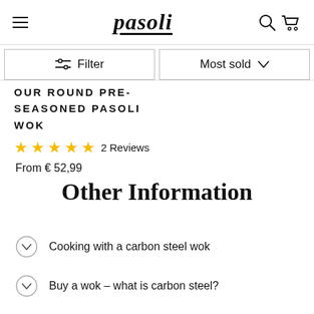pasoli
Filter | Most sold
OUR ROUND PRE-SEASONED PASOLI WOK
★★★★★ 2 Reviews
From € 52,99
Other Information
Cooking with a carbon steel wok
Buy a wok – what is carbon steel?